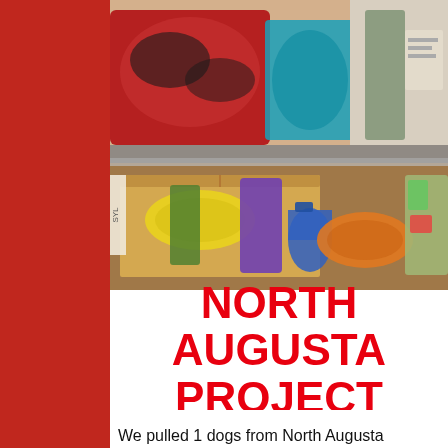[Figure (photo): Photo of shelving unit with pet supplies and donated items including dog beds, frisbees, bags, and miscellaneous pet products in boxes and on shelves.]
NORTH AUGUSTA PROJECT
We pulled 1 dogs from North Augusta (Ciosca...). The d...